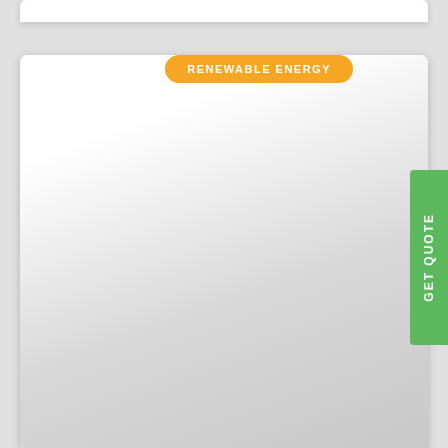[Figure (screenshot): A white card at the top of the page partially visible]
[Figure (screenshot): A large white card with gradient background (white to light gray), containing an orange rounded badge labeled RENEWABLE ENERGY and a green vertical tab on the right labeled GET QUOTE]
RENEWABLE ENERGY
GET QUOTE